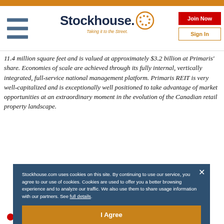Stockhouse - Taking it to the Street. [Join Now] [Sign In]
11.4 million square feet and is valued at approximately $3.2 billion at Primaris' share. Economies of scale are achieved through its fully internal, vertically integrated, full-service national management platform. Primaris REIT is very well-capitalized and is exceptionally well positioned to take advantage of market opportunities at an extraordinary moment in the evolution of the Canadian retail property landscape.
Stockhouse.com uses cookies on this site. By continuing to use our service, you agree to our use of cookies. Cookies are used to offer you a better browsing experience and to analyze our traffic. We also use them to share usage information with our partners. See full details.